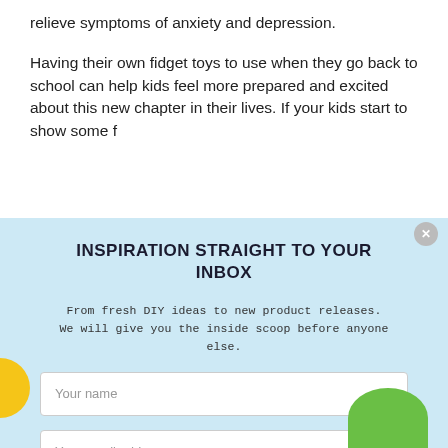relieve symptoms of anxiety and depression.
Having their own fidget toys to use when they go back to school can help kids feel more prepared and excited about this new chapter in their lives. If your kids start to show some f…
INSPIRATION STRAIGHT TO YOUR INBOX
From fresh DIY ideas to new product releases.
We will give you the inside scoop before anyone else.
Your name
Your email address
SIGN UP